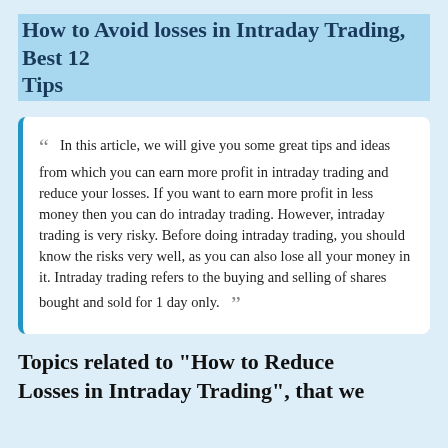How to  Avoid losses in Intraday Trading, Best 12 Tips
In this article, we will give you some great tips and ideas from which you can earn more profit in intraday trading and reduce your losses. If you want to earn more profit in less money then you can do intraday trading. However, intraday trading is very risky. Before doing intraday trading, you should know the risks very well, as you can also lose all your money in it. Intraday trading refers to the buying and selling of shares bought and sold for 1 day only.
Topics related to "How to Reduce Losses in Intraday Trading", that we